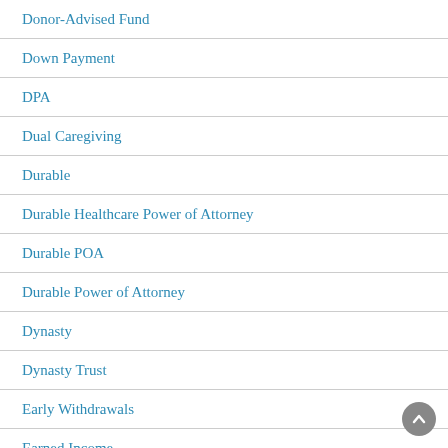Donor-Advised Fund
Down Payment
DPA
Dual Caregiving
Durable
Durable Healthcare Power of Attorney
Durable POA
Durable Power of Attorney
Dynasty
Dynasty Trust
Early Withdrawals
Earned Income
Earnings